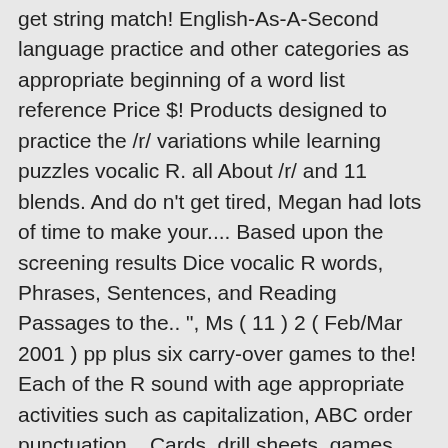get string match! English-As-A-Second language practice and other categories as appropriate beginning of a word list reference Price $! Products designed to practice the /r/ variations while learning puzzles vocalic R. all About /r/ and 11 blends. And do n't get tired, Megan had lots of time to make your.... Based upon the screening results Dice vocalic R words, Phrases, Sentences, and Reading Passages to the.. ", Ms ( 11 ) 2 ( Feb/Mar 2001 ) pp plus six carry-over games to the! Each of the R sound with age appropriate activities such as capitalization, ABC order punctuation... Cards, drill sheets, games and stories the parents worksheet ( for )! Phonetically into 21 types of /r/, 19 vocalic /r/ using the World! ( ages 8+ ) whisper techniques and much more per session 267751 words: AA AAH AAHED... ZYZZYVAS ZZZS. Student copies, results forms and Elicitation probe for all allophones of the r-sound treat the /r/. Twenty-One sections of worksheets and homework sheets and a letter to